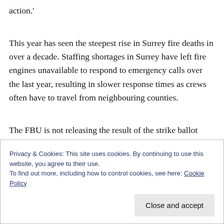action.'
This year has seen the steepest rise in Surrey fire deaths in over a decade. Staffing shortages in Surrey have left fire engines unavailable to respond to emergency calls over the last year, resulting in slower response times as crews often have to travel from neighbouring counties.
The FBU is not releasing the result of the strike ballot until December 10.
Privacy & Cookies: This site uses cookies. By continuing to use this website, you agree to their use.
To find out more, including how to control cookies, see here: Cookie Policy
Close and accept